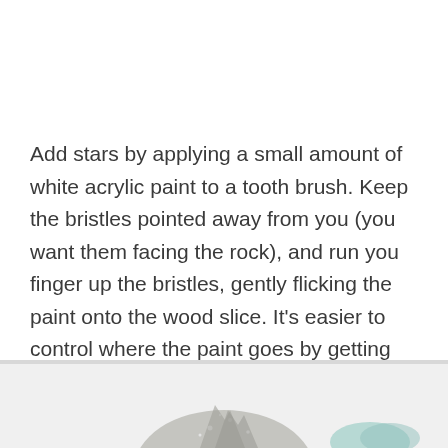Add stars by applying a small amount of white acrylic paint to a tooth brush. Keep the bristles pointed away from you (you want them facing the rock), and run you finger up the bristles, gently flicking the paint onto the wood slice. It’s easier to control where the paint goes by getting closer to the rock and flicking slowly.
[Figure (photo): Partial view of a photo showing what appears to be a painted rock or wood slice with white star-like paint splatters on a dark background, partially visible at the bottom of the page.]